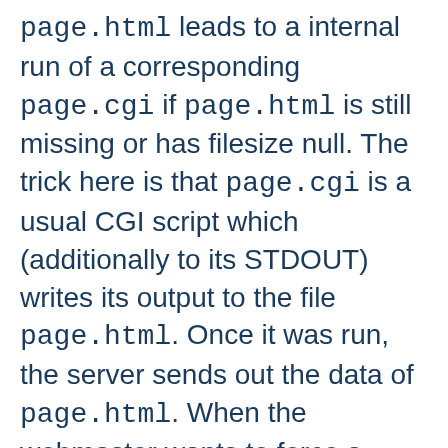page.html leads to a internal run of a corresponding page.cgi if page.html is still missing or has filesize null. The trick here is that page.cgi is a usual CGI script which (additionally to its STDOUT) writes its output to the file page.html. Once it was run, the server sends out the data of page.html. When the webmaster wants to force a refresh the contents, he just removes